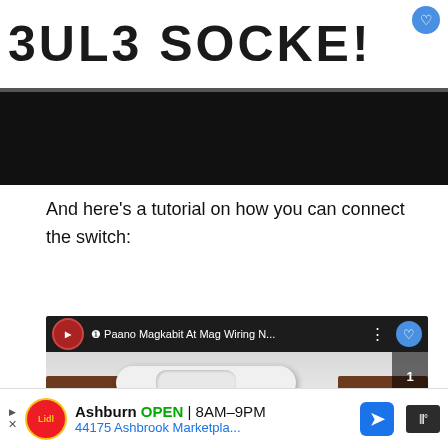[Figure (screenshot): Top portion of a YouTube-style tutorial page showing a title banner reading 'BULB SOCKET' in large bold letters on white background, followed by a black bar below]
And here's a tutorial on how you can connect the switch:
[Figure (screenshot): YouTube video embed showing a thumbnail of a light switch with brown wire, title '❶ Paano Magkabit At Mag Wiring N...' with YouTube play button overlay, text 'HOW TO WIRE A SWITCH' and 'STEP' visible, sidebar showing number 1 and share icon]
[Figure (screenshot): Advertisement bar at bottom: Lidl logo, 'Ashburn OPEN 8AM-9PM', '44175 Ashbrook Marketpla...' with navigation arrow icon]